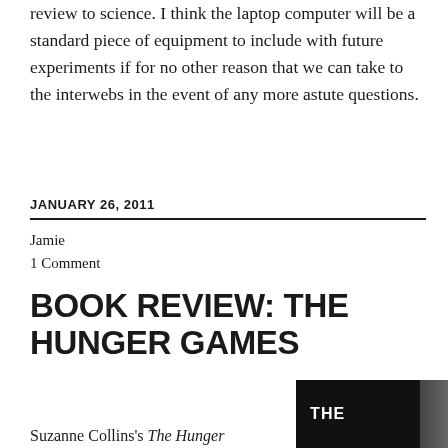review to science. I think the laptop computer will be a standard piece of equipment to include with future experiments if for no other reason that we can take to the interwebs in the event of any more astute questions.
JANUARY 26, 2011
Jamie
1 Comment
BOOK REVIEW: THE HUNGER GAMES
Suzanne Collins's The Hunger
[Figure (photo): Book cover of The Hunger Games showing 'THE' text in white on dark background]